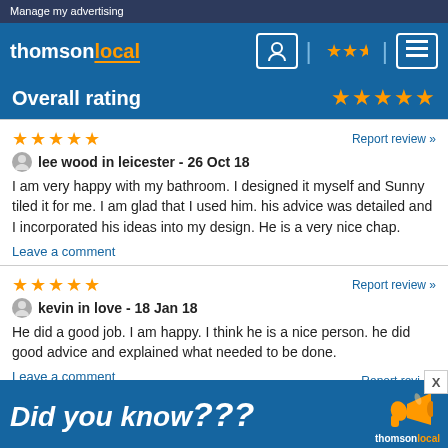Manage my advertising
[Figure (logo): Thomson Local logo with person icon, star rating icon, and menu icon in blue navigation bar]
Overall rating
★★★★★
Report review »
lee wood in leicester - 26 Oct 18
I am very happy with my bathroom. I designed it myself and Sunny tiled it for me. I am glad that I used him. his advice was detailed and I incorporated his ideas into my design. He is a very nice chap.
Leave a comment
Report review »
kevin in love - 18 Jan 18
He did a good job. I am happy. I think he is a nice person. he did good advice and explained what needed to be done.
Leave a comment
[Figure (infographic): Blue advertisement banner: Did you know ??? with megaphone icon and thomsonlocal logo]